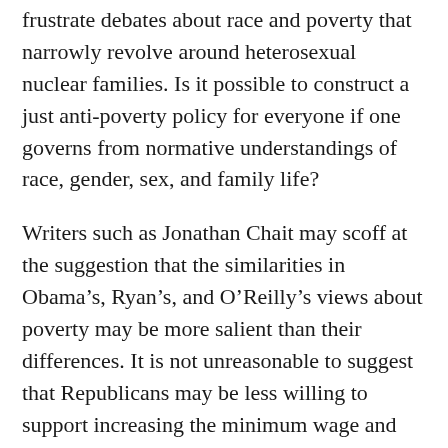frustrate debates about race and poverty that narrowly revolve around heterosexual nuclear families. Is it possible to construct a just anti-poverty policy for everyone if one governs from normative understandings of race, gender, sex, and family life?
Writers such as Jonathan Chait may scoff at the suggestion that the similarities in Obama’s, Ryan’s, and O’Reilly’s views about poverty may be more salient than their differences. It is not unreasonable to suggest that Republicans may be less willing to support increasing the minimum wage and devising policies such as the Earned Income Tax Credit. Such arguments, however, do not explain why Ryan appears willing to invoke President Clinton’s welfare reform as a model in his report on the war on poverty. Nor does it account for how dominant understandings of race and poverty spring from the same ideological well.